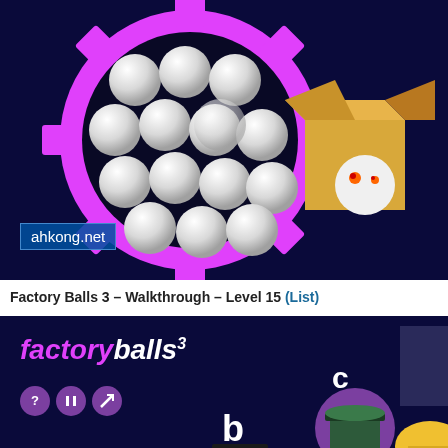[Figure (screenshot): Factory Balls 3 game screenshot showing multiple white shiny balls arranged inside a pink gear shape on a dark navy background, with a cardboard box containing a ball with eyes on the right side. Website watermark 'ahkong.net' shown in lower left of the image.]
Factory Balls 3 – Walkthrough – Level 15 (List)
[Figure (screenshot): Factory Balls 3 game interface showing the game logo with 'factoryballs' in pink and white italic text with a superscript 3, game control buttons (question mark, pause, and mute), and game elements including labeled items b and c with cups/containers visible at the bottom.]